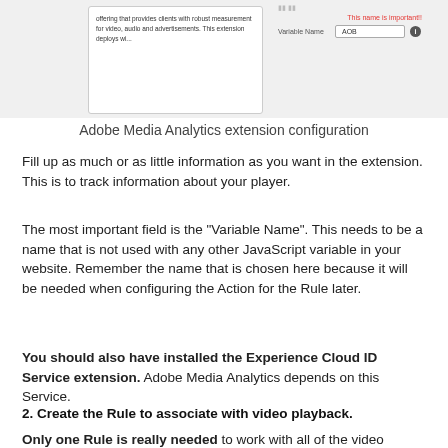[Figure (screenshot): Screenshot showing Adobe Media Analytics extension configuration panel with a card on the left containing text about video/audio measurement, and on the right a form field labeled 'Variable Name' with value 'AOB', a red label 'This name is important!!', and an info icon.]
Adobe Media Analytics extension configuration
Fill up as much or as little information as you want in the extension. This is to track information about your player.
The most important field is the "Variable Name". This needs to be a name that is not used with any other JavaScript variable in your website. Remember the name that is chosen here because it will be needed when configuring the Action for the Rule later.
You should also have installed the Experience Cloud ID Service extension. Adobe Media Analytics depends on this Service.
2. Create the Rule to associate with video playback.
Only one Rule is really needed to work with all of the video